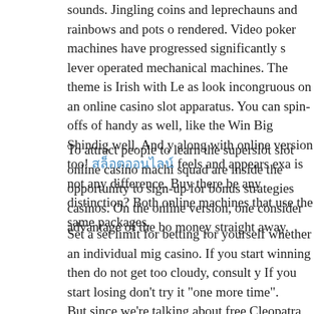sounds. Jingling coins and leprechauns and rainbows and pots o rendered. Video poker machines have progressed significantly s lever operated mechanical machines. The theme is Irish with Le as look incongruous on an online casino slot apparatus. You can spin-offs of handy as well, like the Win Big Shindig well. And y along with online version too! [สล็อตออนไลน์] feels and appears exa is not any difference. Buy there be any distinction? Both online machines that use the same packages.
To attract people to learn the superslot slot online casino machi squad are inside the opportunity to sign-up for bonus strategies casinos. On the online version, one consider advantage of the bo money straight away.
Set a set limit for betting for yourself whether an individual mig casino. If you start winning then do not get too cloudy, consult y If you start losing don't try it "one more time".
But since we're talking about free Cleopatra slots here, we don